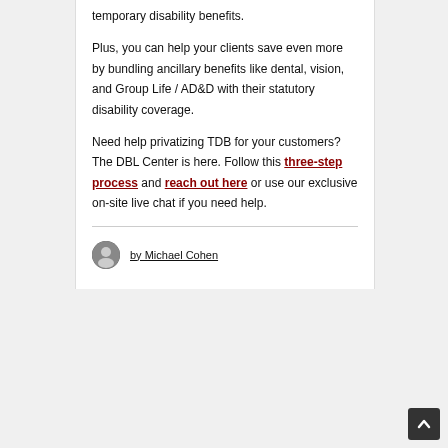temporary disability benefits.
Plus, you can help your clients save even more by bundling ancillary benefits like dental, vision, and Group Life / AD&D with their statutory disability coverage.
Need help privatizing TDB for your customers? The DBL Center is here. Follow this three-step process and reach out here or use our exclusive on-site live chat if you need help.
by Michael Cohen